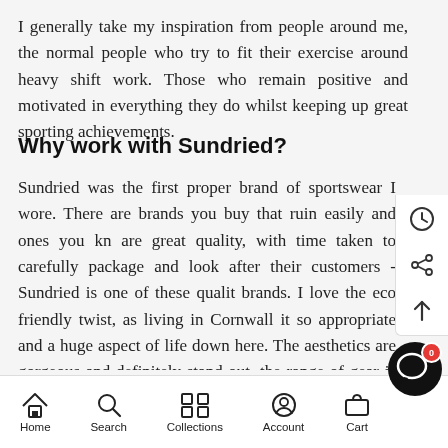I generally take my inspiration from people around me, the normal people who try to fit their exercise around heavy shift work. Those who remain positive and motivated in everything they do whilst keeping up great sporting achievements.
Why work with Sundried?
Sundried was the first proper brand of sportswear I wore. There are brands you buy that ruin easily and ones you kn are great quality, with time taken to carefully package and look after their customers - Sundried is one of these qualit brands. I love the eco friendly twist, as living in Cornwall it so appropriate and a huge aspect of life down here. The aesthetics are gorgeous and definitely stand out, the range of gear is ever changing and very popular. There's a lot this brand is going to do, and I feel so proud being a part of it
Home  Search  Collections  Account  Cart